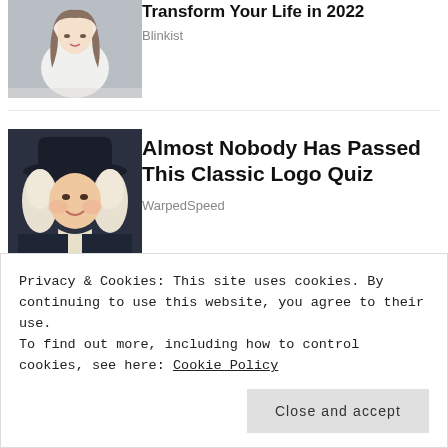[Figure (photo): Partial view of top article with woman photo and truncated title 'Transform Your Life in 2022']
Transform Your Life in 2022
Blinkist
[Figure (photo): Portrait of a historical-looking figure in a pilgrim hat and wig for the Classic Logo Quiz article]
Almost Nobody Has Passed This Classic Logo Quiz
WarpedSpeed
sponsored by Picture Mushroom
Privacy & Cookies: This site uses cookies. By continuing to use this website, you agree to their use.
To find out more, including how to control cookies, see here: Cookie Policy
Close and accept